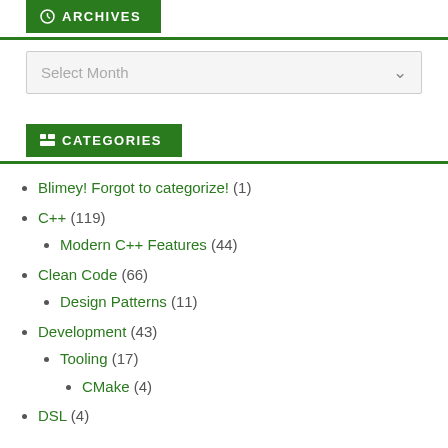ARCHIVES
Select Month
CATEGORIES
Blimey! Forgot to categorize! (1)
C++ (119)
Modern C++ Features (44)
Clean Code (66)
Design Patterns (11)
Development (43)
Tooling (17)
CMake (4)
DSL (4)